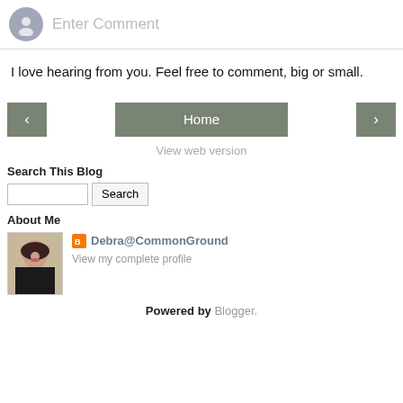[Figure (screenshot): Comment input bar with avatar icon and placeholder text 'Enter Comment']
I love hearing from you. Feel free to comment, big or small.
[Figure (screenshot): Navigation bar with left arrow button, Home button, and right arrow button]
View web version
Search This Blog
[Figure (screenshot): Search input field with Search button]
About Me
[Figure (screenshot): About Me section with profile photo and Blogger profile link for Debra@CommonGround with View my complete profile link]
Powered by Blogger.